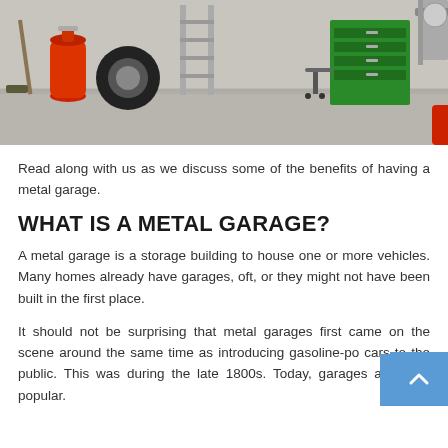[Figure (illustration): Illustration of an interior garage with concrete floor, showing a broom, red gas cylinder, black tire, metal ladder, and green tool cabinet with stool on the right side.]
Read along with us as we discuss some of the benefits of having a metal garage.
WHAT IS A METAL GARAGE?
A metal garage is a storage building to house one or more vehicles. Many homes already have garages, oft, or they might not have been built in the first place.
It should not be surprising that metal garages first came on the scene around the same time as introducing gasoline-po cars to the public. This was during the late 1800s. Today, garages are quite popular.